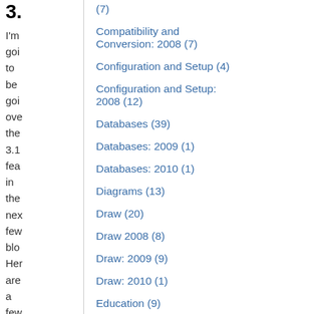3.
I'm going to be going over the 3.1 features in the next few blog posts. Here are a few that are just
(7)
Compatibility and Conversion: 2008 (7)
Configuration and Setup (4)
Configuration and Setup: 2008 (12)
Databases (39)
Databases: 2009 (1)
Databases: 2010 (1)
Diagrams (13)
Draw (20)
Draw 2008 (8)
Draw: 2009 (9)
Draw: 2010 (1)
Education (9)
Envelopes (7)